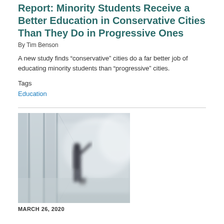Report: Minority Students Receive a Better Education in Conservative Cities Than They Do in Progressive Ones
By Tim Benson
A new study finds “conservative” cities do a far better job of educating minority students than “progressive” cities.
Tags
Education
[Figure (photo): Blurred hallway photo showing a person in dark clothing walking through a corridor with glass panels, soft background lights, muted greys and blues]
MARCH 26, 2020